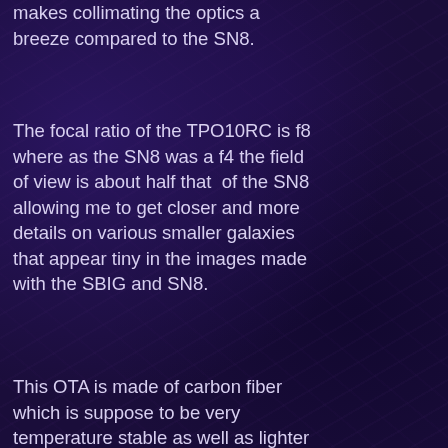makes collimating the optics a breeze compared to the SN8.
The focal ratio of the TPO10RC is f8 where as the SN8 was a f4 the field of view is about half that  of the SN8 allowing me to get closer and more details on various smaller galaxies that appear tiny in the images made with the SBIG and SN8.
This OTA is made of carbon fiber which is suppose to be very temperature stable as well as lighter in weight than the steel tube scopes. Since my Atlas EQ-G is rated for 40 pounds of equipment load I needed to keep the OTA weight as low as possible. The OTA with focuser and